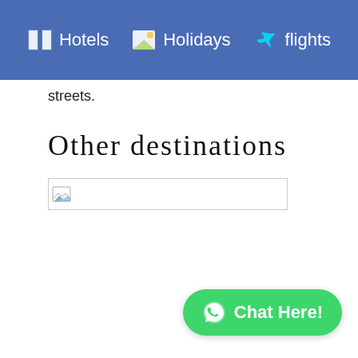Hotels   Holidays   flights
streets.
Other destinations
[Figure (photo): Broken image placeholder for other destinations section]
Chat Here!